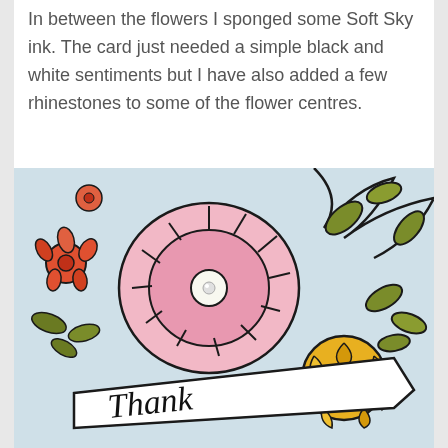In between the flowers I sponged some Soft Sky ink. The card just needed a simple black and white sentiments but I have also added a few rhinestones to some of the flower centres.
[Figure (photo): Close-up photograph of a handmade floral greeting card featuring large pink flowers, red smaller flowers, yellow rose, olive green leaves, all outlined in black marker/stamp ink, on a soft blue background. A white banner ribbon at the bottom reads 'Thank' (partially visible), written in black script.]